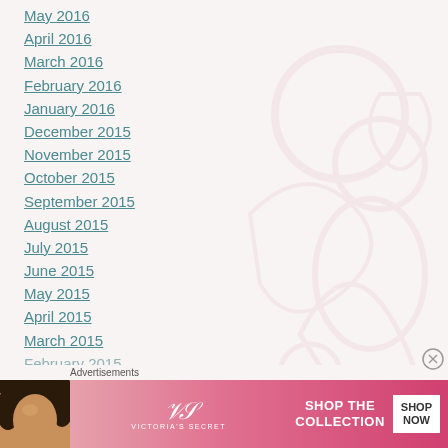May 2016
April 2016
March 2016
February 2016
January 2016
December 2015
November 2015
October 2015
September 2015
August 2015
July 2015
June 2015
May 2015
April 2015
March 2015
February 2015
[Figure (illustration): Faint floral/decorative watermark background on the right side of the page]
[Figure (photo): Victoria's Secret advertisement banner with a woman's face on the left, VS logo, 'SHOP THE COLLECTION' text, and 'SHOP NOW' button on white background]
Advertisements